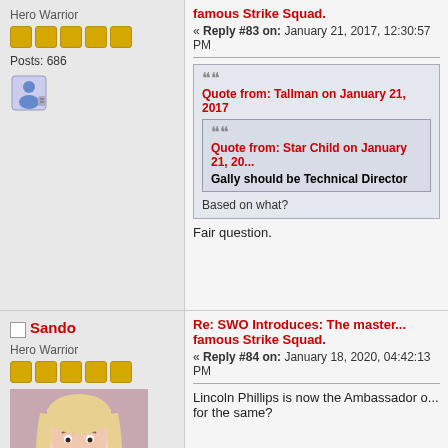Hero Warrior
Posts: 686
famous Strike Squad.
« Reply #83 on: January 21, 2017, 12:30:57 PM
Quote from: Tallman on January 21, 2017
Quote from: Star Child on January 21, 20...
Gally should be Technical Director
Based on what?
Fair question.
Sando
Hero Warrior
Posts: 2993
Re: SWO Introduces: The master... famous Strike Squad.
« Reply #84 on: January 18, 2020, 04:42:13 PM
Lincoln Phillips is now the Ambassador o... for the same?